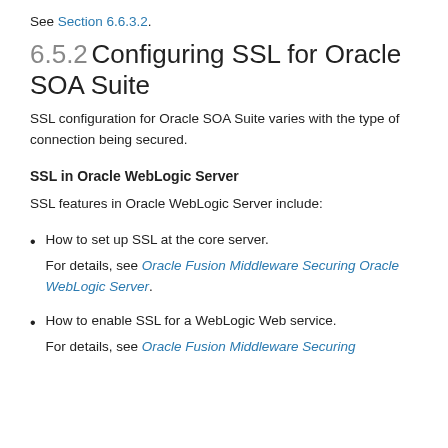See Section 6.6.3.2.
6.5.2 Configuring SSL for Oracle SOA Suite
SSL configuration for Oracle SOA Suite varies with the type of connection being secured.
SSL in Oracle WebLogic Server
SSL features in Oracle WebLogic Server include:
How to set up SSL at the core server.
For details, see Oracle Fusion Middleware Securing Oracle WebLogic Server.
How to enable SSL for a WebLogic Web service.
For details, see Oracle Fusion Middleware Securing...